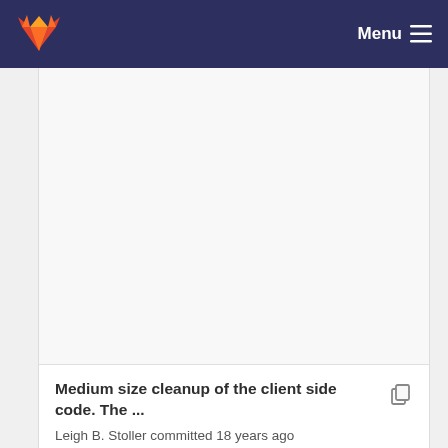[Figure (logo): GitLab fox logo in orange and red on dark navy navigation bar]
Menu
Medium size cleanup of the client side code. The ... Leigh B. Stoller committed 18 years ago